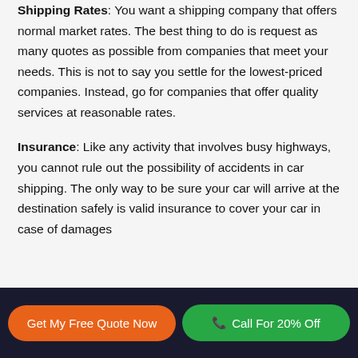Shipping Rates: You want a shipping company that offers normal market rates. The best thing to do is request as many quotes as possible from companies that meet your needs. This is not to say you settle for the lowest-priced companies. Instead, go for companies that offer quality services at reasonable rates.
Insurance: Like any activity that involves busy highways, you cannot rule out the possibility of accidents in car shipping. The only way to be sure your car will arrive at the destination safely is valid insurance to cover your car in case of damages
Get My Free Quote Now | Call For 20% Off